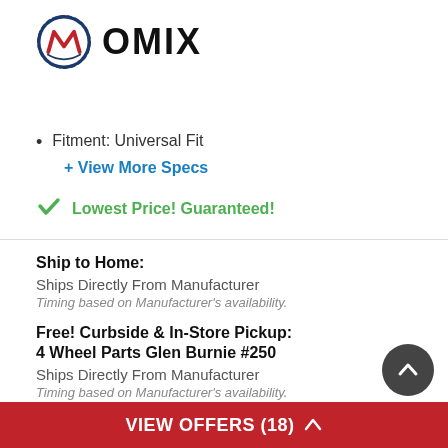[Figure (logo): OMIX logo with circular gear emblem in red, white and blue, followed by bold OMIX text]
Fitment: Universal Fit
+ View More Specs
✓ Lowest Price! Guaranteed!
Ship to Home:
Ships Directly From Manufacturer
Timing based on Manufacturer's availability.
Free! Curbside & In-Store Pickup:
4 Wheel Parts Glen Burnie #250
Ships Directly From Manufacturer
Timing based on Manufacturer's availability.
View Other Stores
VIEW OFFERS (18) ^